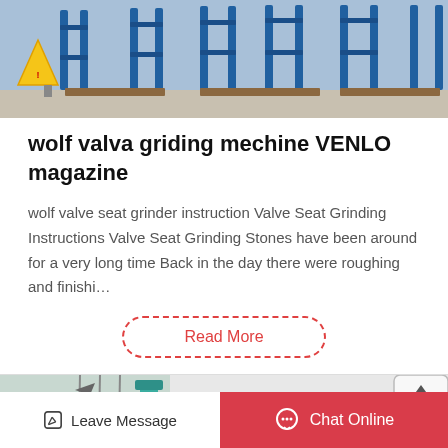[Figure (photo): Industrial machinery with blue metal frames/racks on a warehouse floor, with a yellow caution sign visible on the left.]
wolf valva griding mechine VENLO magazine
wolf valve seat grinder instruction Valve Seat Grinding Instructions Valve Seat Grinding Stones have been around for a very long time Back in the day there were roughing and finishi…
Read More
[Figure (photo): Orange industrial valve or grinding machine component, with teal/green equipment visible in the background left side.]
Leave Message   Chat Online